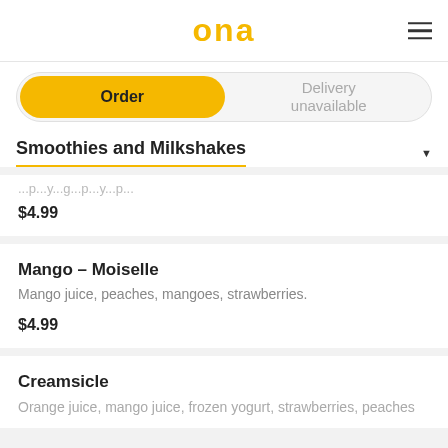ona
Order | Delivery unavailable
Smoothies and Milkshakes
$4.99
Mango - Moiselle
Mango juice, peaches, mangoes, strawberries.
$4.99
Creamsicle
Orange juice, mango juice, frozen yogurt, strawberries, peaches